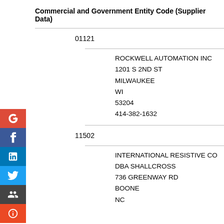Commercial and Government Entity Code (Supplier Data)
01121
ROCKWELL AUTOMATION INC
1201 S 2ND ST
MILWAUKEE
WI
53204
414-382-1632
11502
INTERNATIONAL RESISTIVE CO
DBA SHALLCROSS
736 GREENWAY RD
BOONE
NC